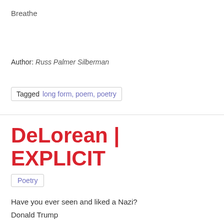Breathe
Author: Russ Palmer Silberman
Tagged long form, poem, poetry
DeLorean | EXPLICIT
Poetry
Have you ever seen and liked a Nazi?
Donald Trump
Incest is your thing?

Donald Trump